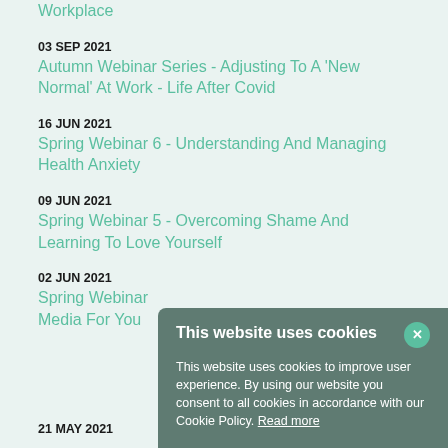Workplace
03 SEP 2021
Autumn Webinar Series - Adjusting To A 'New Normal' At Work - Life After Covid
16 JUN 2021
Spring Webinar 6 - Understanding And Managing Health Anxiety
09 JUN 2021
Spring Webinar 5 - Overcoming Shame And Learning To Love Yourself
02 JUN 2021
Spring Webinar [partial - obscured by cookie banner]
Media For You[partial]
21 MAY 2021
This website uses cookies
This website uses cookies to improve user experience. By using our website you consent to all cookies in accordance with our Cookie Policy. Read more